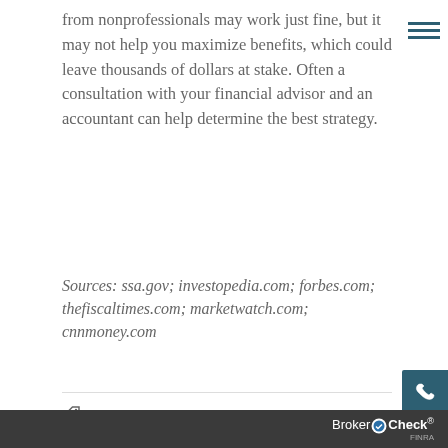from nonprofessionals may work just fine, but it may not help you maximize benefits, which could leave thousands of dollars at stake. Often a consultation with your financial advisor and an accountant can help determine the best strategy.
Sources: ssa.gov; investopedia.com; forbes.com; thefiscaltimes.com; marketwatch.com; cnnmoney.com
TAG CLOUD
Retirement Planning
BrokerCheck